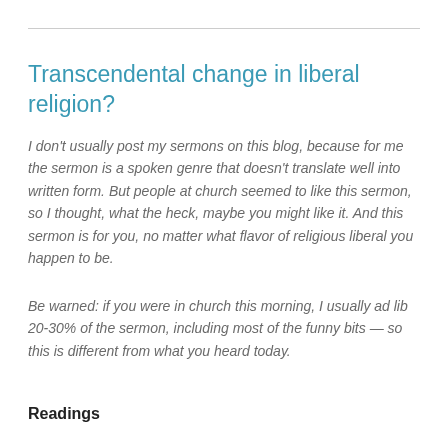Transcendental change in liberal religion?
I don't usually post my sermons on this blog, because for me the sermon is a spoken genre that doesn't translate well into written form. But people at church seemed to like this sermon, so I thought, what the heck, maybe you might like it. And this sermon is for you, no matter what flavor of religious liberal you happen to be.
Be warned: if you were in church this morning, I usually ad lib 20-30% of the sermon, including most of the funny bits — so this is different from what you heard today.
Readings